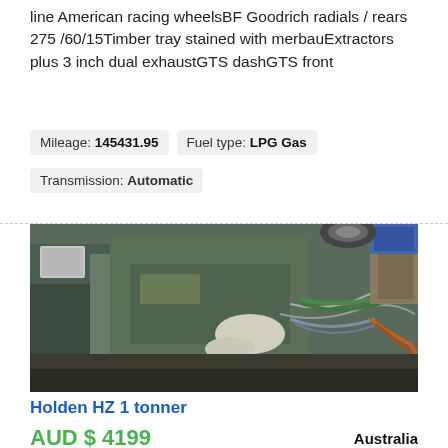line American racing wheelsBF Goodrich radials / rears 275 /60/15Timber tray stained with merbauExtractors plus 3 inch dual exhaustGTS dashGTS front
Mileage: 145431.95   Fuel type: LPG Gas
Transmission: Automatic
[Figure (photo): Photo of a Holden HZ 1 tonner vehicle in disassembled state, showing body panels, wiring, and parts in a workshop or garage setting.]
Holden HZ 1 tonner
AUD $ 4199
Australia
Up for sale is a Holden HZ 1 tonner, Originally a